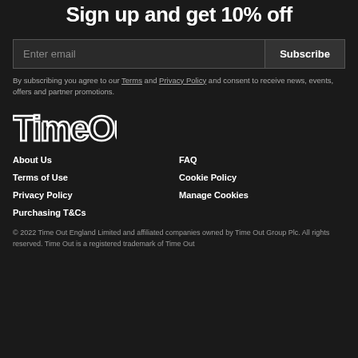Sign up and get 10% off
Enter email | Subscribe
By subscribing you agree to our Terms and Privacy Policy and consent to receive news, events, offers and partner promotions.
[Figure (logo): Time Out logo in white outline font on dark background]
About Us
FAQ
Terms of Use
Cookie Policy
Privacy Policy
Manage Cookies
Purchasing T&Cs
© 2022 Time Out England Limited and affiliated companies owned by Time Out Group Plc. All rights reserved. Time Out is a registered trademark of Time Out